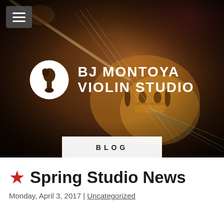[Figure (photo): Hero image of a violin bridge and strings close-up with dark warm brown bokeh background. White circular logo with violin scroll icon on the left. Text 'BJ MONTOYA VIOLIN STUDIO' in white bold letters. Navigation menu hamburger icon in top left corner. White bar at bottom center reading 'BLOG'.]
★ Spring Studio News
Monday, April 3, 2017 | Uncategorized